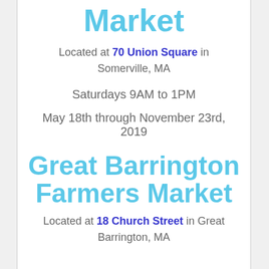Market
Located at 70 Union Square in Somerville, MA
Saturdays 9AM to 1PM
May 18th through November 23rd, 2019
Great Barrington Farmers Market
Located at 18 Church Street in Great Barrington, MA